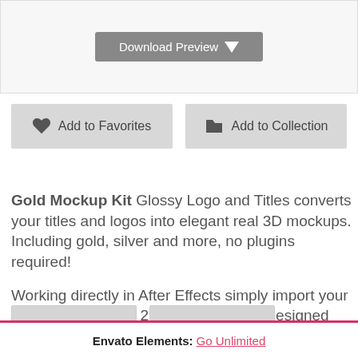[Figure (screenshot): Download Preview button with downward arrow icon on gray background]
Add to Favorites
Add to Collection
Gold Mockup Kit Glossy Logo and Titles converts your titles and logos into elegant real 3D mockups. Including gold, silver and more, no plugins required!

Working directly in After Effects simply import your logo or select from 20+ professionally designed titles, to create your stylish design.
[Figure (screenshot): Two thumbnail images partially visible at bottom of page]
Envato Elements: Go Unlimited